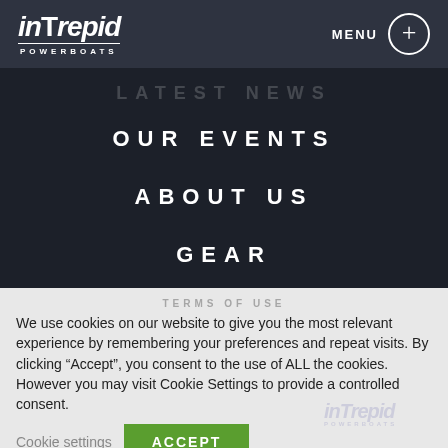intrepid POWERBOATS — MENU
LATEST NEWS
OUR EVENTS
ABOUT US
GEAR
PRE-OWNED
TERMS OF USE
We use cookies on our website to give you the most relevant experience by remembering your preferences and repeat visits. By clicking “Accept”, you consent to the use of ALL the cookies. However you may visit Cookie Settings to provide a controlled consent.
Cookie settings   ACCEPT